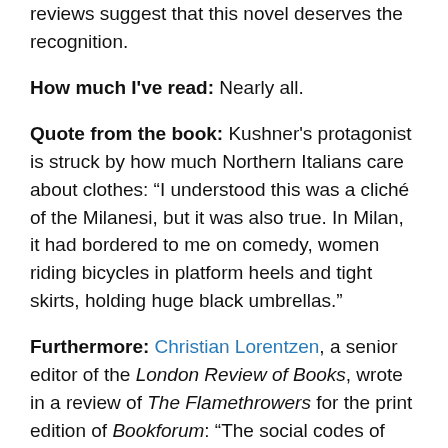reviews suggest that this novel deserves the recognition.
How much I've read: Nearly all.
Quote from the book: Kushner's protagonist is struck by how much Northern Italians care about clothes: “I understood this was a cliché of the Milanesi, but it was also true. In Milan, it had bordered to me on comedy, women riding bicycles in platform heels and tight skirts, holding huge black umbrellas.”
Furthermore: Christian Lorentzen, a senior editor of the London Review of Books, wrote in a review of The Flamethrowers for the print edition of Bookforum: “The social codes of Kushner’s ‘70s Manhattan aren’t too far removed from those of today, except without the cell phones and with a bit more gun fetishizing than you find lately on Broome Street.” He added that Kushner’s “most